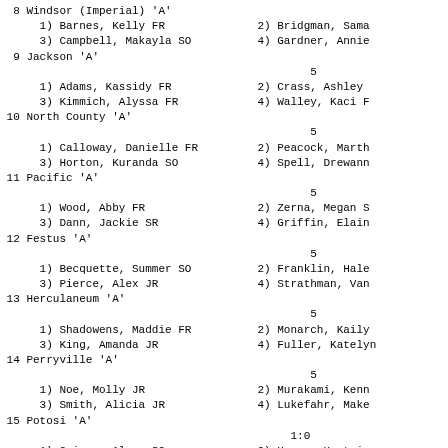8 Windsor (Imperial) 'A'
   1) Barnes, Kelly FR              2) Bridgman, Sama
   3) Campbell, Makayla SO          4) Gardner, Annie
9 Jackson 'A'
   1) Adams, Kassidy FR             2) Crass, Ashley
   3) Kimmich, Alyssa FR            4) Walley, Kaci F
10 North County 'A'
    1) Calloway, Danielle FR         2) Peacock, Marth
    3) Horton, Kuranda SO            4) Spell, Drewann
11 Pacific 'A'
    1) Wood, Abby FR                 2) Zerna, Megan S
    3) Dann, Jackie SR               4) Griffin, Elain
12 Festus 'A'
    1) Becquette, Summer SO          2) Franklin, Hale
    3) Pierce, Alex JR               4) Strathman, Van
13 Herculaneum 'A'
    1) Shadowens, Maddie FR          2) Monarch, Kaily
    3) King, Amanda JR               4) Fuller, Katelyn
14 Perryville 'A'
    1) Noe, Molly JR                 2) Murakami, Kenn
    3) Smith, Alicia JR              4) Lukefahr, Make
15 Potosi 'A'                                           1:0
    1) Griggs, Alysa SO              2) House, Kortnie
    3) Merx, Emily FR                4) Saunders, Bayl
Event 26  Boys 4x100 Meter Relay
| School |
| --- |
| 1 Fox  'A' |
1 Fox  'A'